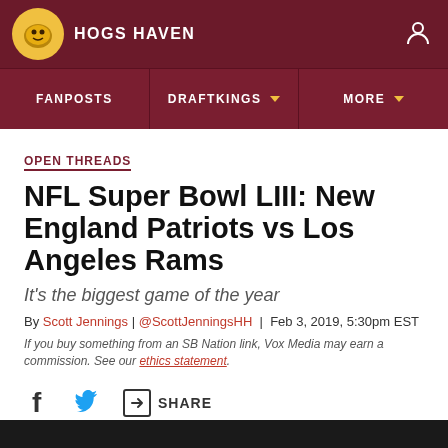HOGS HAVEN
FANPOSTS | DRAFTKINGS | MORE
OPEN THREADS
NFL Super Bowl LIII: New England Patriots vs Los Angeles Rams
It's the biggest game of the year
By Scott Jennings | @ScottJenningsHH | Feb 3, 2019, 5:30pm EST
If you buy something from an SB Nation link, Vox Media may earn a commission. See our ethics statement.